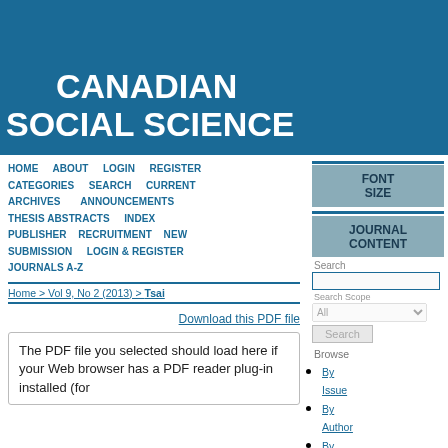CANADIAN SOCIAL SCIENCE
HOME   ABOUT   LOGIN   REGISTER   CATEGORIES   SEARCH   CURRENT   ARCHIVES   ANNOUNCEMENTS   THESIS ABSTRACTS   INDEX   PUBLISHER   RECRUITMENT   NEW SUBMISSION   LOGIN & REGISTER   JOURNALS A-Z
Home > Vol 9, No 2 (2013) > Tsai
Download this PDF file
The PDF file you selected should load here if your Web browser has a PDF reader plug-in installed (for
FONT SIZE
JOURNAL CONTENT
Search
Search Scope
Browse
By Issue
By Author
By Title
By